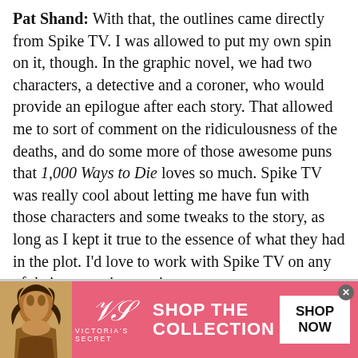Pat Shand: With that, the outlines came directly from Spike TV. I was allowed to put my own spin on it, though. In the graphic novel, we had two characters, a detective and a coroner, who would provide an epilogue after each story. That allowed me to sort of comment on the ridiculousness of the deaths, and do some more of those awesome puns that 1,000 Ways to Die loves so much. Spike TV was really cool about letting me have fun with those characters and some tweaks to the story, as long as I kept it true to the essence of what they had in the plot. I'd love to work with Spike TV on any of their properties anytime.
[Figure (photo): Broken image placeholder labeled 'An Interview With Comic Writer Patrick Shand']
Here's Pat scaring himself shitless whilst reading his book.
[Figure (other): Victoria's Secret advertisement banner with pink background, model photo, VS logo, 'SHOP THE COLLECTION' text, and 'SHOP NOW' button]